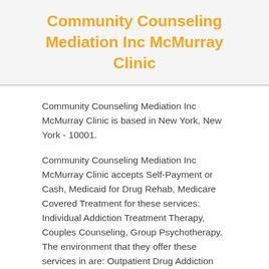Community Counseling Mediation Inc McMurray Clinic
Community Counseling Mediation Inc McMurray Clinic is based in New York, New York - 10001.
Community Counseling Mediation Inc McMurray Clinic accepts Self-Payment or Cash, Medicaid for Drug Rehab, Medicare Covered Treatment for these services: Individual Addiction Treatment Therapy, Couples Counseling, Group Psychotherapy. The environment that they offer these services in are: Outpatient Drug Addiction Treatment.